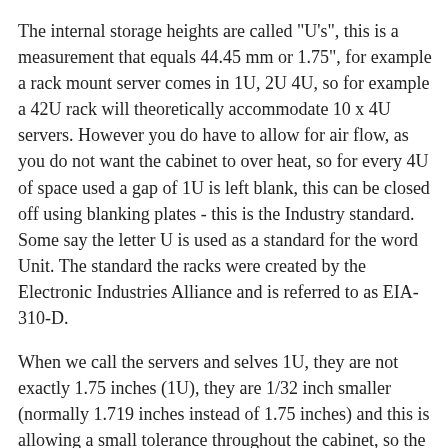The internal storage heights are called "U's", this is a measurement that equals 44.45 mm or 1.75", for example a rack mount server comes in 1U, 2U 4U, so for example a 42U rack will theoretically accommodate 10 x 4U servers. However you do have to allow for air flow, as you do not want the cabinet to over heat, so for every 4U of space used a gap of 1U is left blank, this can be closed off using blanking plates - this is the Industry standard. Some say the letter U is used as a standard for the word Unit. The standard the racks were created by the Electronic Industries Alliance and is referred to as EIA-310-D.
When we call the servers and selves 1U, they are not exactly 1.75 inches (1U), they are 1/32 inch smaller (normally 1.719 inches instead of 1.75 inches) and this is allowing a small tolerance throughout the cabinet, so the equipment will not catch on other equipment in the rack.